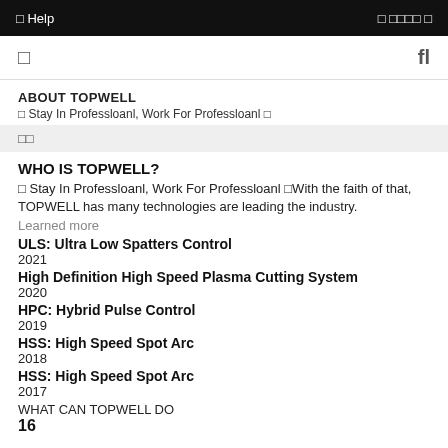Help   □ □□□□ □
□  fl
ABOUT TOPWELL
□ Stay In Professloanl, Work For Professloanl □
□□
WHO IS TOPWELL?
□ Stay In Professloanl, Work For Professloanl □With the faith of that, TOPWELL has many technologies are leading the industry.
Learned more
ULS: Ultra Low Spatters Control
2021
High Definition High Speed Plasma Cutting System
2020
HPC: Hybrid Pulse Control
2019
HSS: High Speed Spot Arc
2018
HSS: High Speed Spot Arc
2017
WHAT CAN TOPWELL DO
16